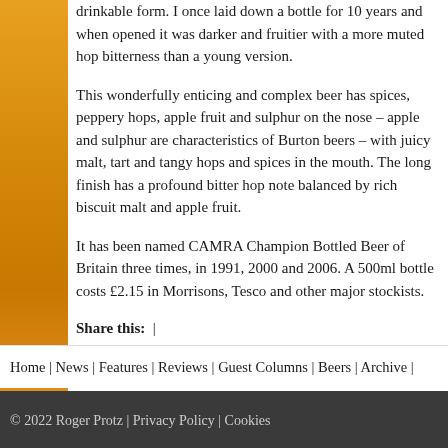drinkable form. I once laid down a bottle for 10 years and when opened it was darker and fruitier with a more muted hop bitterness than a young version.
This wonderfully enticing and complex beer has spices, peppery hops, apple fruit and sulphur on the nose – apple and sulphur are characteristics of Burton beers – with juicy malt, tart and tangy hops and spices in the mouth. The long finish has a profound bitter hop note balanced by rich biscuit malt and apple fruit.
It has been named CAMRA Champion Bottled Beer of Britain three times, in 1991, 2000 and 2006. A 500ml bottle costs £2.15 in Morrisons, Tesco and other major stockists.
Share this:  |
Home | News | Features | Reviews | Guest Columns | Beers | Archive |
© 2022 Roger Protz | Privacy Policy | Cookies